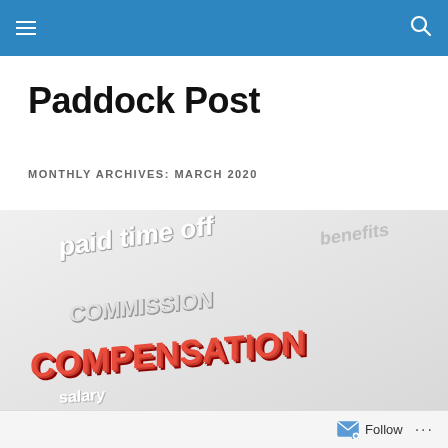Paddock Post — site navigation header with hamburger menu and search icon
Paddock Post
MONTHLY ARCHIVES: MARCH 2020
[Figure (photo): 3D word cloud / typographic illustration featuring benefit and compensation-related terms: 'paid time off', 'insurance', 'COMMISSION', 'COMPENSATION', 'salary' in white and red 3D letters on a light grey background]
Follow ...